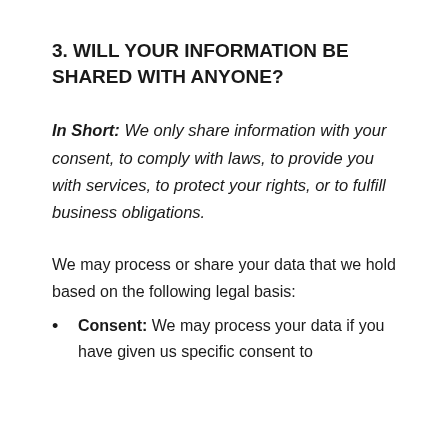3. WILL YOUR INFORMATION BE SHARED WITH ANYONE?
In Short: We only share information with your consent, to comply with laws, to provide you with services, to protect your rights, or to fulfill business obligations.
We may process or share your data that we hold based on the following legal basis:
Consent: We may process your data if you have given us specific consent to